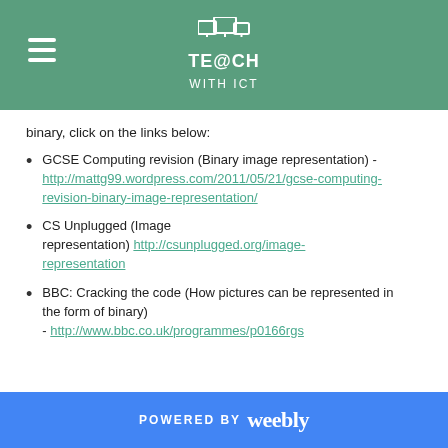TE@CH WITH ICT
binary, click on the links below:
GCSE Computing revision (Binary image representation) - http://mattg99.wordpress.com/2011/05/21/gcse-computing-revision-binary-image-representation/
CS Unplugged (Image representation) http://csunplugged.org/image-representation
BBC: Cracking the code (How pictures can be represented in the form of binary) - http://www.bbc.co.uk/programmes/p0166rgs
POWERED BY weebly